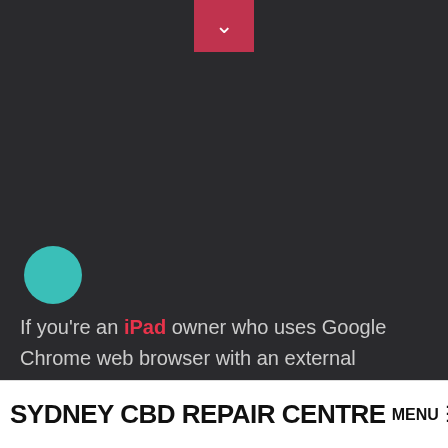[Figure (other): Dark background section with a red/crimson dropdown chevron button at top center, and a teal circle on the left side]
If you're an iPad owner who uses Google Chrome web browser with an external keyboard connected to the iPad, you might appreciate learning a variety of handy keyboard shortcuts to help using Chrome and navigating
SYDNEY CBD REPAIR CENTRE MENU ≡